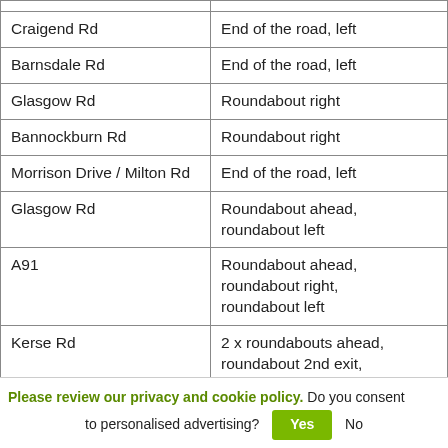| Road | Direction |
| --- | --- |
| Craigend Rd | End of the road, left |
| Barnsdale Rd | End of the road, left |
| Glasgow Rd | Roundabout right |
| Bannockburn Rd | Roundabout right |
| Morrison Drive / Milton Rd | End of the road, left |
| Glasgow Rd | Roundabout ahead, roundabout left |
| A91 | Roundabout ahead, roundabout right, roundabout left |
| Kerse Rd | 2 x roundabouts ahead, roundabout 2nd exit, roundabout ahead |
Please review our privacy and cookie policy. Do you consent to personalised advertising? Yes No